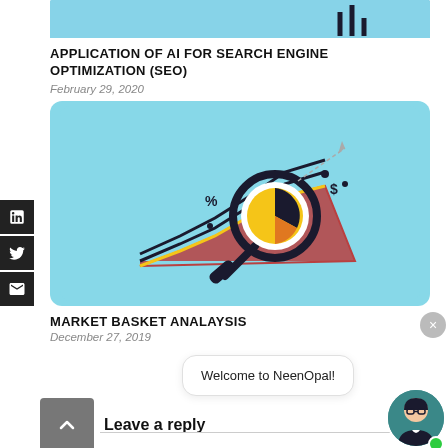[Figure (illustration): Top portion of a light blue banner image with bar chart icon/lines]
APPLICATION OF AI FOR SEARCH ENGINE OPTIMIZATION (SEO)
February 29, 2020
[Figure (illustration): Light blue card with a magnifying glass over a pie chart and an upward trending line chart with percentage and dollar sign symbols]
MARKET BASKET ANALAYSIS
December 27, 2019
Welcome to NeenOpal!
Leave a reply